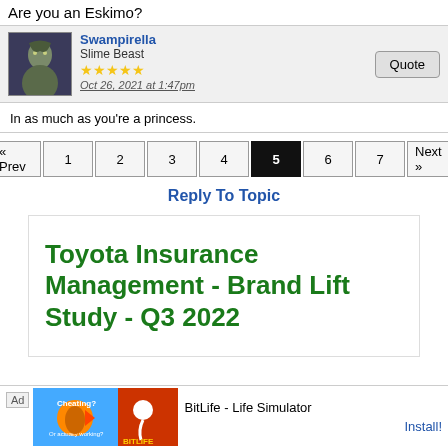Are you an Eskimo?
Swampirella
Slime Beast
★★★★★
Oct 26, 2021 at 1:47pm
In as much as you're a princess.
« Prev 1 2 3 4 5 6 7 Next »
Reply To Topic
[Figure (infographic): Toyota Insurance Management - Brand Lift Study - Q3 2022 promotional content box with green bold text on white background]
[Figure (infographic): BitLife - Life Simulator advertisement banner at bottom with App icon and Install button]